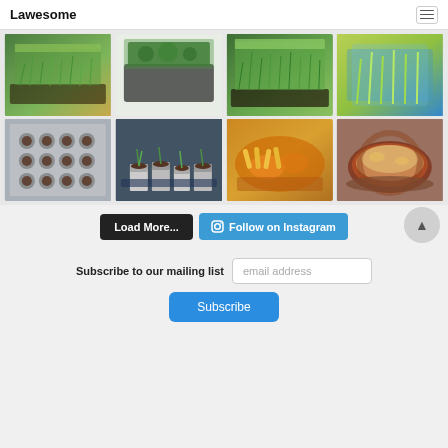Lawesome
[Figure (photo): Grid of 8 Instagram photos showing microgreens, seedlings, and food dishes in a 4x2 layout]
Load More...
Follow on Instagram
Subscribe to our mailing list
email address
Subscribe